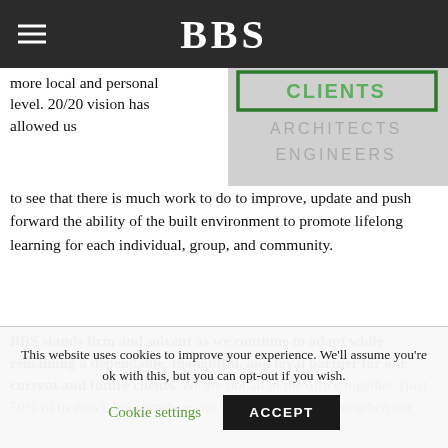BBS
more local and personal level. 20/20 vision has allowed us to see that there is much work to do to improve, update and push forward the ability of the built environment to promote lifelong learning for each individual, group, and community.
[Figure (photo): A sign reading 'ARCHITECTS ENGINEERS' with green framed lettering on a white/grey background]
BBS stands firm and solvent as we continue to adapt while remaining a dependable, thoughtful, and loyal partner for our current and future clients. We are not all in the office together, (just 50% of us now), but somehow, we have managed to strengthen our
This website uses cookies to improve your experience. We'll assume you're ok with this, but you can opt-out if you wish. Cookie settings ACCEPT